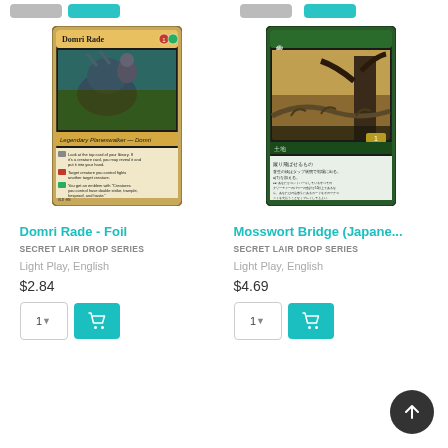[Figure (screenshot): Trading card image for Domri Rade - Foil, a Magic: The Gathering card showing a character riding a large horned beast, with Legendary Planeswalker - Domri card text visible]
Domri Rade - Foil
SECRET LAIR DROP SERIES
Light Play, English
$2.84
[Figure (screenshot): Trading card image for Mosswort Bridge (Japanese), a Magic: The Gathering card showing a bridge over a landscape, with Japanese text on the card]
Mosswort Bridge (Japane...
SECRET LAIR DROP SERIES
Light Play, English
$4.69